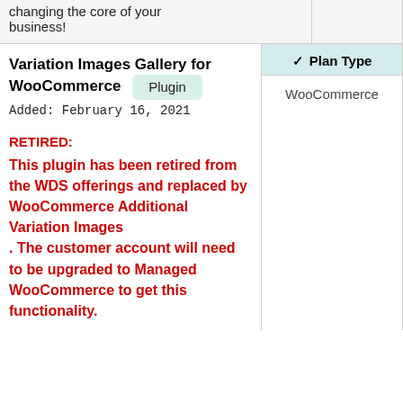changing the core of your business!
| Plugin/Theme | Plan Type | Functionality | Pe... |
| --- | --- | --- | --- |
| Variation Images Gallery for WooCommerce Plugin
Added: February 16, 2021
RETIRED:
This plugin has been retired from the WDS offerings and replaced by WooCommerce Additional Variation Images. The customer account will need to be upgraded to Managed WooCommerce to get this functionality. | WooCommerce | Display Products
, Product Add Ons
, Products | Pe... R... |